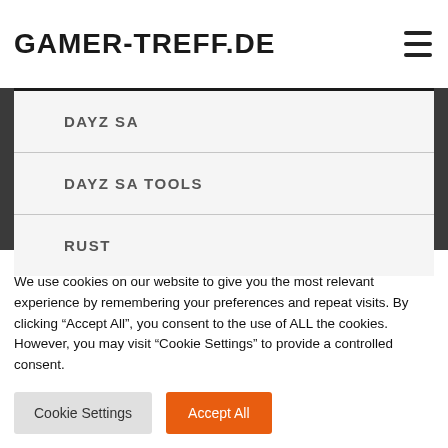GAMER-TREFF.DE
DAYZ SA
DAYZ SA TOOLS
RUST
We use cookies on our website to give you the most relevant experience by remembering your preferences and repeat visits. By clicking “Accept All”, you consent to the use of ALL the cookies. However, you may visit “Cookie Settings” to provide a controlled consent.
Cookie Settings | Accept All